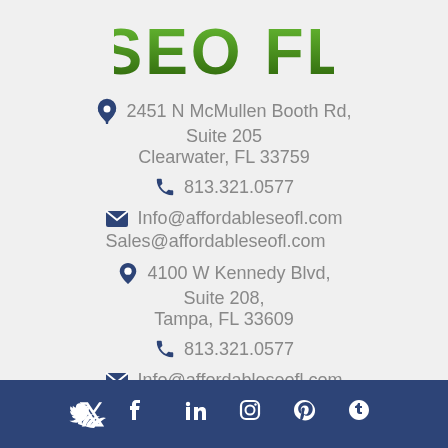[Figure (logo): SEO FL logo in bold green gradient text]
2451 N McMullen Booth Rd, Suite 205 Clearwater, FL 33759
813.321.0577
Info@affordableseofl.com
Sales@affordableseofl.com
4100 W Kennedy Blvd, Suite 208, Tampa, FL 33609
813.321.0577
Info@affordableseofl.com
Sales@affordableseofl.com
[Figure (infographic): Footer bar with social media icons: Twitter, Facebook, LinkedIn, Instagram, Pinterest, Tumblr]